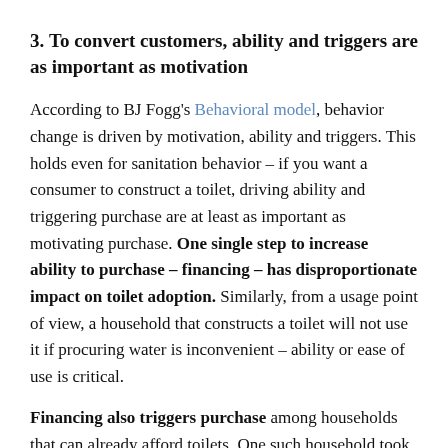3. To convert customers, ability and triggers are as important as motivation
According to BJ Fogg's Behavioral model, behavior change is driven by motivation, ability and triggers. This holds even for sanitation behavior – if you want a consumer to construct a toilet, driving ability and triggering purchase are at least as important as motivating purchase. One single step to increase ability to purchase – financing – has disproportionate impact on toilet adoption. Similarly, from a usage point of view, a household that constructs a toilet will not use it if procuring water is inconvenient – ability or ease of use is critical.
Financing also triggers purchase among households that can already afford toilets. One such household took a loan of Rs. 5,000 to construct a large toilet, with an